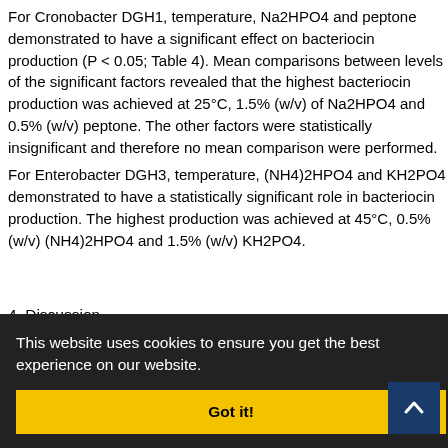For Cronobacter DGH1, temperature, Na2HPO4 and peptone demonstrated to have a significant effect on bacteriocin production (P < 0.05; Table 4). Mean comparisons between levels of the significant factors revealed that the highest bacteriocin production was achieved at 25°C, 1.5% (w/v) of Na2HPO4 and 0.5% (w/v) peptone. The other factors were statistically insignificant and therefore no mean comparison were performed.
For Enterobacter DGH3, temperature, (NH4)2HPO4 and KH2PO4 demonstrated to have a statistically significant role in bacteriocin production. The highest production was achieved at 45°C, 0.5% (w/v) (NH4)2HPO4 and 1.5% (w/v) KH2PO4.
4. Discussion
Citrus bacterial canker caused by Xanthomonas citri … in severe … begins with … stems with … rounding by … 3, 24). It … d … hectare of citriculture (25, 26). Hitherto, in order to control the
This website uses cookies to ensure you get the best experience on our website.